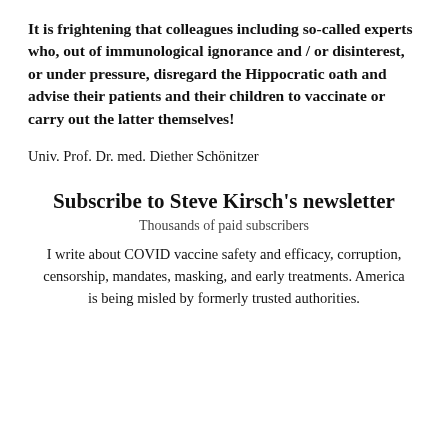It is frightening that colleagues including so-called experts who, out of immunological ignorance and / or disinterest, or under pressure, disregard the Hippocratic oath and advise their patients and their children to vaccinate or carry out the latter themselves!
Univ. Prof. Dr. med. Diether Schönitzer
Subscribe to Steve Kirsch's newsletter
Thousands of paid subscribers
I write about COVID vaccine safety and efficacy, corruption, censorship, mandates, masking, and early treatments. America is being misled by formerly trusted authorities.